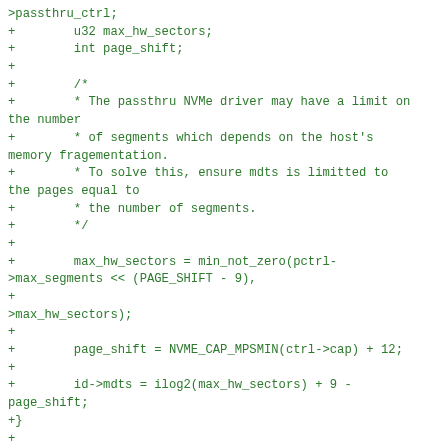>passthru_ctrl;
+        u32 max_hw_sectors;
+        int page_shift;
+
+        /*
+        * The passthru NVMe driver may have a limit on the number
+        * of segments which depends on the host's memory fragementation.
+        * To solve this, ensure mdts is limitted to the pages equal to
+        * the number of segments.
+        */
+
+        max_hw_sectors = min_not_zero(pctrl->max_segments << (PAGE_SHIFT - 9),
+                                                            pctrl->max_hw_sectors);
+
+        page_shift = NVME_CAP_MPSMIN(ctrl->cap) + 12;
+
+        id->mdts = ilog2(max_hw_sectors) + 9 - page_shift;
+}
+
+static u16 nvmet_passthru_override_id_ctrl(struct nvmet_req *req)
+{
+        struct nvmet_ctrl *ctrl = req->sq->ctrl;
+        u16 status = NVME_SC_SUCCESS;